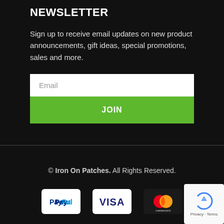NEWSLETTER
Sign up to receive email updates on new product announcements, gift ideas, special promotions, sales and more.
[Figure (screenshot): Email input field with placeholder text 'Email' and a green JOIN button below it]
© Iron On Patches. All Rights Reserved.
[Figure (infographic): Payment method icons: PayPal, VISA, and Mastercard logos in white rounded rectangle badges]